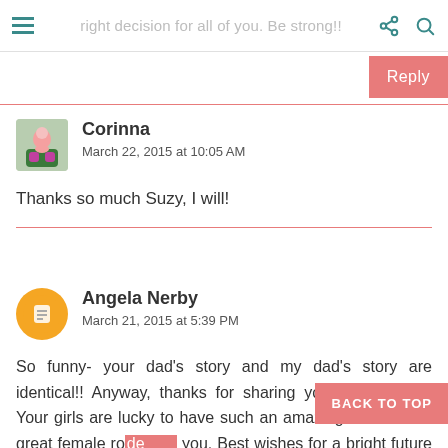right decision for all of you. Be strong!!
Reply
Corinna
March 22, 2015 at 10:05 AM
Thanks so much Suzy, I will!
Angela Nerby
March 21, 2015 at 5:39 PM
So funny- your dad's story and my dad's story are identical!! Anyway, thanks for sharing your life with us! Your girls are lucky to have such an amazing mom and a great female ro... you. Best wishes for a bright future f... of you! <3
BACK TO TOP